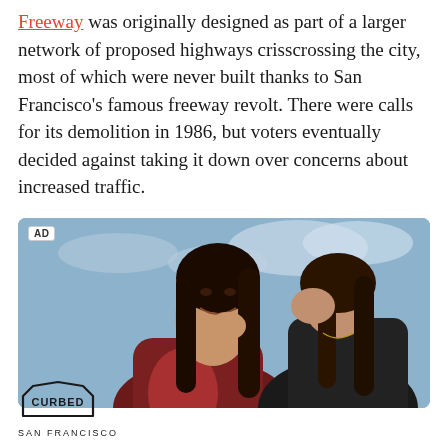Freeway was originally designed as part of a larger network of proposed highways crisscrossing the city, most of which were never built thanks to San Francisco's famous freeway revolt. There were calls for its demolition in 1986, but voters eventually decided against taking it down over concerns about increased traffic.
[Figure (photo): Advertisement photo showing two women, one whispering into the other's ear. Both wear dark athletic or fashion clothing. Background is a blue sky with clouds. AD label visible in top left corner.]
[Figure (logo): Curbed San Francisco logo — house/building shaped outline with the word CURBED inside and SAN FRANCISCO text below.]